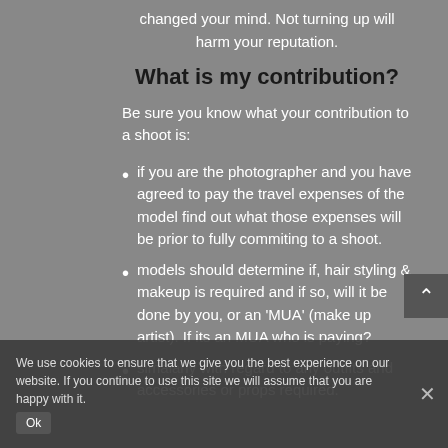changed your mind. Not turning up will harm your reputation.
What is my contribution?
Be sure you know what your contribution to a shoot is:
if you are the photographer and you have agreed to pay the travel expenses of the model find out what those expenses will be prior to fully commiting to a shoot.
models should determine if, hair styling & makeup is required and if so, will it be done by you, or an 'MUA' (make up artist). If its an MUA who is paying?
simalarly with regard to any outfits and accessories or props required.
We use cookies to ensure that we give you the best experience on our website. If you continue to use this site we will assume that you are happy with it.